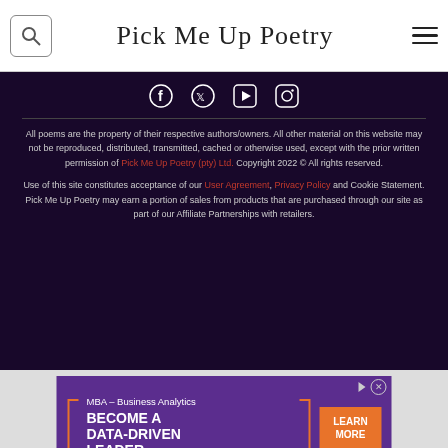Pick Me Up Poetry — navigation header with search and menu icons
[Figure (screenshot): Social media icons: Facebook, Twitter, YouTube, Instagram on dark background]
All poems are the property of their respective authors/owners. All other material on this website may not be reproduced, distributed, transmitted, cached or otherwise used, except with the prior written permission of Pick Me Up Poetry (pty) Ltd. Copyright 2022 © All rights reserved.
Use of this site constitutes acceptance of our User Agreement, Privacy Policy and Cookie Statement. Pick Me Up Poetry may earn a portion of sales from products that are purchased through our site as part of our Affiliate Partnerships with retailers.
[Figure (screenshot): Advertisement for High Point University MBA – Business Analytics. Text: BECOME A DATA-DRIVEN LEADER. Button: LEARN MORE. High Point University logo at bottom.]